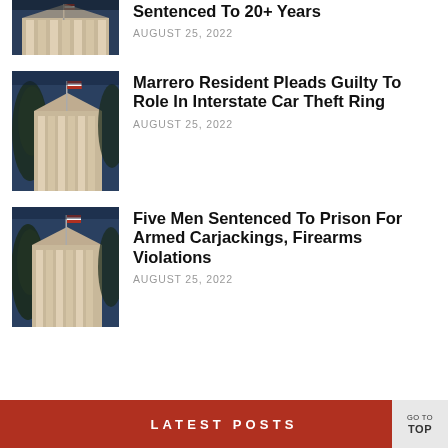[Figure (photo): Courthouse building with American flag, partial top crop]
Sentenced To 20+ Years
AUGUST 25, 2022
[Figure (photo): Courthouse building with American flag and trees]
Marrero Resident Pleads Guilty To Role In Interstate Car Theft Ring
AUGUST 25, 2022
[Figure (photo): Courthouse building with American flag and trees]
Five Men Sentenced To Prison For Armed Carjackings, Firearms Violations
AUGUST 25, 2022
LATEST POSTS